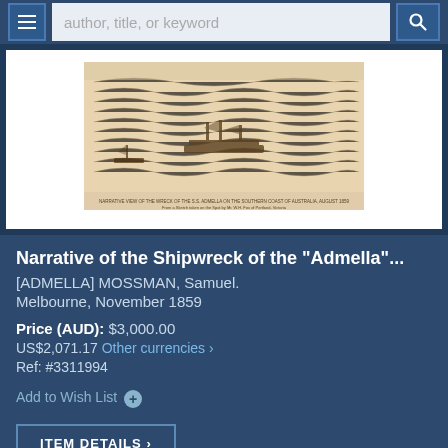author, title, or keyword
[Figure (illustration): Historical engraving of a shipwreck scene showing a ship in stormy seas with waves, with caption text below the image.]
Narrative of the Shipwreck of the "Admella"...
[ADMELLA] MOSSMAN, Samuel.
Melbourne, November 1859
Price (AUD): $3,000.00
US$2,071.17 Other currencies >
Ref: #3311994
Add to Wish List +
ITEM DETAILS >